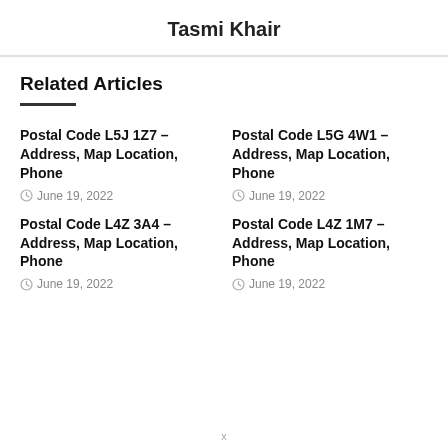Tasmi Khair
Related Articles
Postal Code L5J 1Z7 – Address, Map Location, Phone
June 19, 2022
Postal Code L5G 4W1 – Address, Map Location, Phone
June 19, 2022
Postal Code L4Z 3A4 – Address, Map Location, Phone
June 19, 2022
Postal Code L4Z 1M7 – Address, Map Location, Phone
June 19, 2022
x